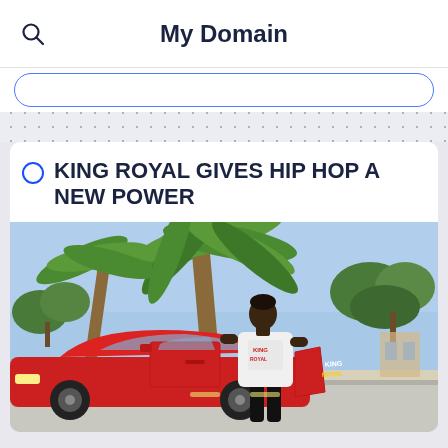My Domain
KING ROYAL GIVES HIP HOP A NEW POWER
[Figure (photo): Young man in a white King Royal t-shirt standing next to a red sports car with palm trees and suburban street in the background]